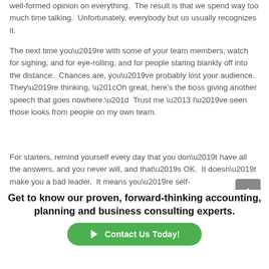well-formed opinion on everything.  The result is that we spend way too much time talking.  Unfortunately, everybody but us usually recognizes it.
The next time you're with some of your team members, watch for sighing, and for eye-rolling, and for people staring blankly off into the distance.  Chances are, you've probably lost your audience.  They're thinking, “Oh great, here's the boss giving another speech that goes nowhere.”  Trust me – I've seen those looks from people on my own team.
For starters, remind yourself every day that you don’t have all the answers, and you never will, and that’s OK.  It doesn’t make you a bad leader.  It means you’re self-
Get to know our proven, forward-thinking accounting, planning and business consulting experts.